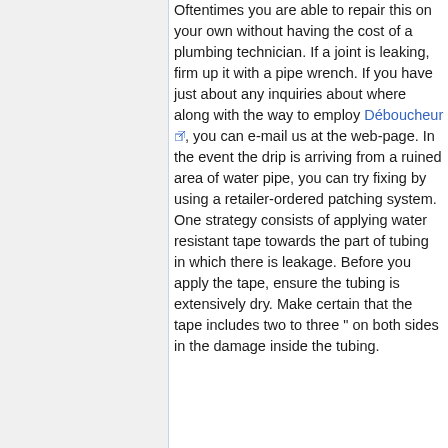Oftentimes you are able to repair this on your own without having the cost of a plumbing technician. If a joint is leaking, firm up it with a pipe wrench. If you have just about any inquiries about where along with the way to employ Déboucheur, you can e-mail us at the web-page. In the event the drip is arriving from a ruined area of water pipe, you can try fixing by using a retailer-ordered patching system. One strategy consists of applying water resistant tape towards the part of tubing in which there is leakage. Before you apply the tape, ensure the tubing is extensively dry. Make certain that the tape includes two to three " on both sides in the damage inside the tubing.